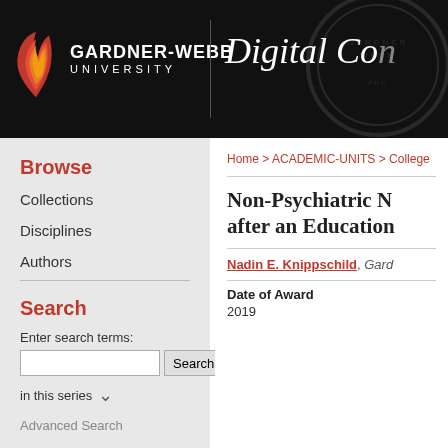[Figure (logo): Gardner-Webb University logo with flame icon and university name on black background, alongside 'Digital Commons' text]
Browse
Collections
Disciplines
Authors
Search
Enter search terms:
in this series
Advanced Search
Home > ACADEMIC-UNITS > College
Non-Psychiatric N... after an Education...
Nadin E. Knippschild, Gard...
Date of Award
2019